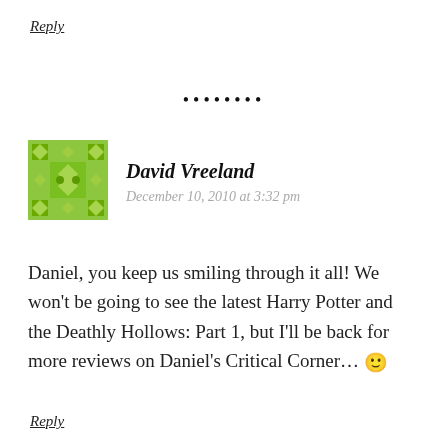Reply
[Figure (other): A row of bullet dots used as a section divider]
[Figure (illustration): Green geometric avatar icon with diamond/square pattern]
David Vreeland
December 10, 2010 at 3:32 pm
Daniel, you keep us smiling through it all! We won't be going to see the latest Harry Potter and the Deathly Hollows: Part 1, but I'll be back for more reviews on Daniel's Critical Corner… 🙂
Reply